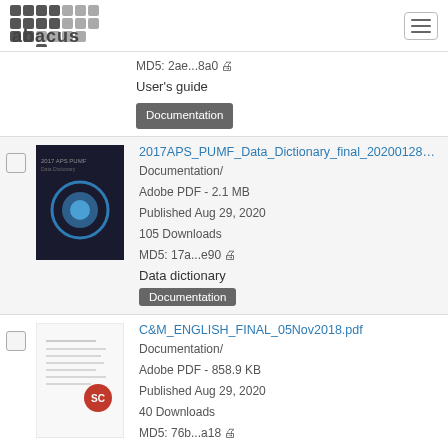Abacus logo and navigation
MD5: 2ae...8a0
User's guide
Documentation
2017APS_PUMF_Data_Dictionary_final_20200128...
Documentation/
Adobe PDF - 2.1 MB
Published Aug 29, 2020
105 Downloads
MD5: 17a...e90
Data dictionary
Documentation
C&M_ENGLISH_FINAL_05Nov2018.pdf
Documentation/
Adobe PDF - 858.9 KB
Published Aug 29, 2020
40 Downloads
MD5: 76b...a18
Concepts and methods guide
Documentation